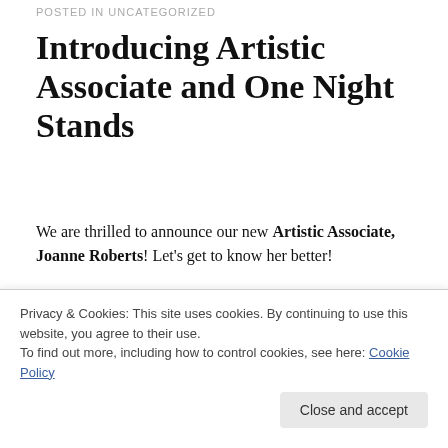POSTED IN UNCATEGORIZED
Introducing Artistic Associate and One Night Stands
We are thrilled to announce our new Artistic Associate, Joanne Roberts! Let's get to know her better!
What are your pronouns? She/Her
What is your sun sign? Aquarius. Supposedly I'm creative. Do you see it?
Privacy & Cookies: This site uses cookies. By continuing to use this website, you agree to their use.
To find out more, including how to control cookies, see here: Cookie Policy